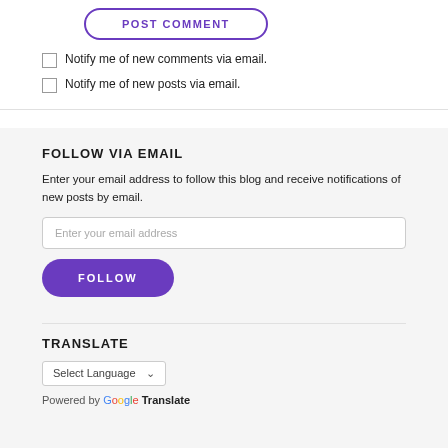POST COMMENT
Notify me of new comments via email.
Notify me of new posts via email.
FOLLOW VIA EMAIL
Enter your email address to follow this blog and receive notifications of new posts by email.
Enter your email address
FOLLOW
TRANSLATE
Select Language
Powered by Google Translate